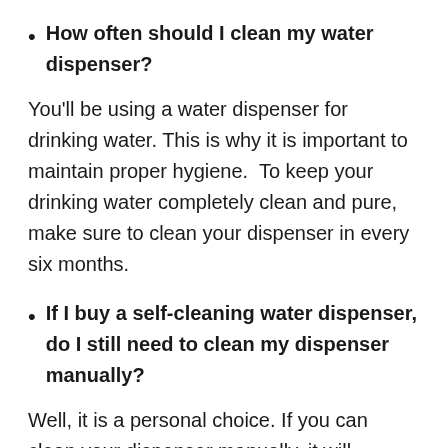How often should I clean my water dispenser?
You'll be using a water dispenser for drinking water. This is why it is important to maintain proper hygiene.  To keep your drinking water completely clean and pure, make sure to clean your dispenser in every six months.
If I buy a self-cleaning water dispenser, do I still need to clean my dispenser manually?
Well, it is a personal choice. If you can clean your dispenser manually, it will certainly be beneficial for you. The dispensers equipped